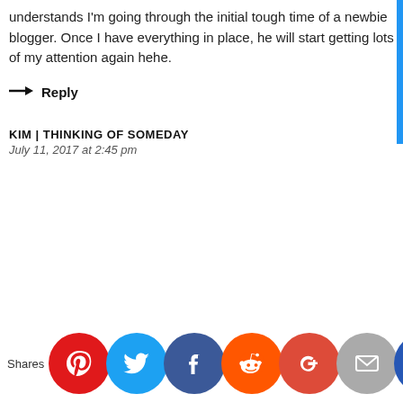understands I'm going through the initial tough time of a newbie blogger. Once I have everything in place, he will start getting lots of my attention again hehe.
→ Reply
KIM | THINKING OF SOMEDAY
July 11, 2017 at 2:45 pm
[Figure (infographic): Social share buttons row: Pinterest (red), Twitter (light blue), Facebook (dark blue), Reddit (orange), Google+ (red-orange), Email (grey), Crown/other (dark blue). Label 'Shares' on left.]